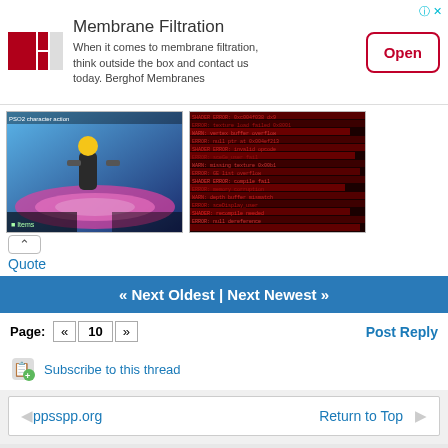[Figure (screenshot): Advertisement banner for Berghof Membranes membrane filtration with logo, text, and Open button]
[Figure (screenshot): Two screenshots: left shows a colorful game scene (character in action), right shows a dark red/black log or code output]
Quote
« Next Oldest | Next Newest »
Page: « 10 » Post Reply
Subscribe to this thread
ppsspp.org   Return to Top
Powered by MyBB, mobile version by MyBB GoMobile. Switch to Full Version